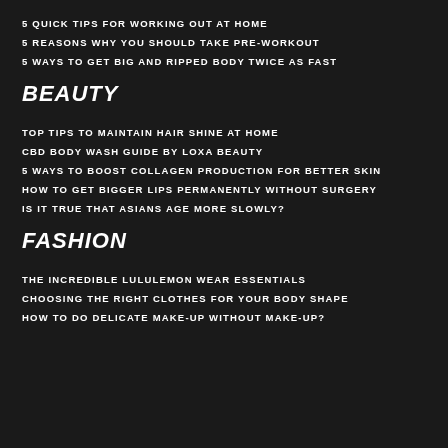5 QUICK TIPS FOR WORKING OUT AT HOME
5 REASONS WHY YOU SHOULD TAKE PRE-WORKOUT
5 WAYS TO GET BIG AND RIPPED BODY TWICE AS FAST
BEAUTY
TOP TIPS TO MAINTAIN HAIR SHINE AT HOME
CBD BODY WASH GUIDE BY LOXA BEAUTY
5 WAYS TO BOOST COLLAGEN PRODUCTION FOR BETTER SKIN
HOW TO GET BIGGER LIPS PERMANENTLY WITHOUT SURGERY
IS IT TRUE THAT ASIANS AGE MORE SLOWLY?
FASHION
THE INCREDIBLE LULULEMON WEAR ESSENTIALS
CHOOSING THE RIGHT CLOTHES FOR YOUR BODY SHAPE
HOW TO DO DELICATE MAKE-UP WITHOUT MAKE-UP?